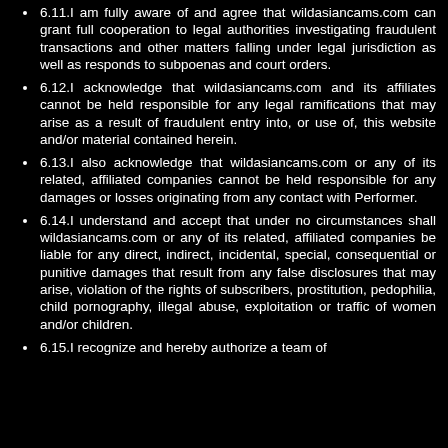6.11.I am fully aware of and agree that wildasiancams.com can grant full cooperation to legal authorities investigating fraudulent transactions and other matters falling under legal jurisdiction as well as responds to subpoenas and court orders.
6.12.I acknowledge that wildasiancams.com and its affiliates cannot be held responsible for any legal ramifications that may arise as a result of fraudulent entry into, or use of, this website and/or material contained herein.
6.13.I also acknowledge that wildasiancams.com or any of its related, affiliated companies cannot be held responsible for any damages or losses originating from any contact with Performer.
6.14.I understand and accept that under no circumstances shall wildasiancams.com or any of its related, affiliated companies be liable for any direct, indirect, incidental, special, consequential or punitive damages that result from any false disclosures that may arise, violation of the rights of subscribers, prostitution, pedophilia, child pornography, illegal abuse, exploitation or traffic of women and/or children.
6.15.I recognize and hereby authorize a team of